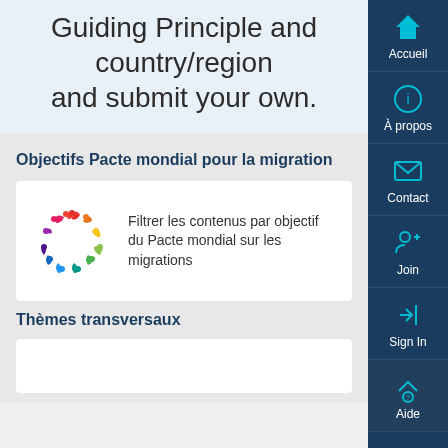Guiding Principle and country/region and submit your own.
Objectifs Pacte mondial pour la migration
Filtrer les contenus par objectif du Pacte mondial sur les migrations
Thèmes transversaux